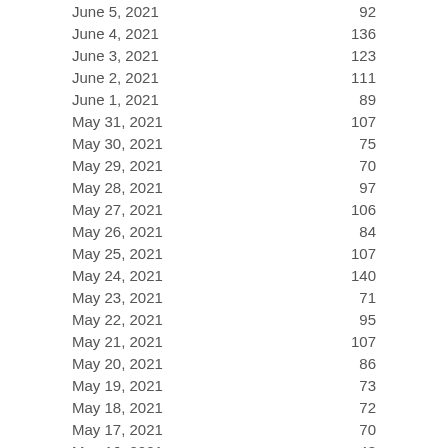| Date | Count |
| --- | --- |
| June 5, 2021 | 92 |
| June 4, 2021 | 136 |
| June 3, 2021 | 123 |
| June 2, 2021 | 111 |
| June 1, 2021 | 89 |
| May 31, 2021 | 107 |
| May 30, 2021 | 75 |
| May 29, 2021 | 70 |
| May 28, 2021 | 97 |
| May 27, 2021 | 106 |
| May 26, 2021 | 84 |
| May 25, 2021 | 107 |
| May 24, 2021 | 140 |
| May 23, 2021 | 71 |
| May 22, 2021 | 95 |
| May 21, 2021 | 107 |
| May 20, 2021 | 86 |
| May 19, 2021 | 73 |
| May 18, 2021 | 72 |
| May 17, 2021 | 70 |
| May 16, 2021 | 43 |
| May 15, 2021 | 26 |
| May 14, 2021 | 20 |